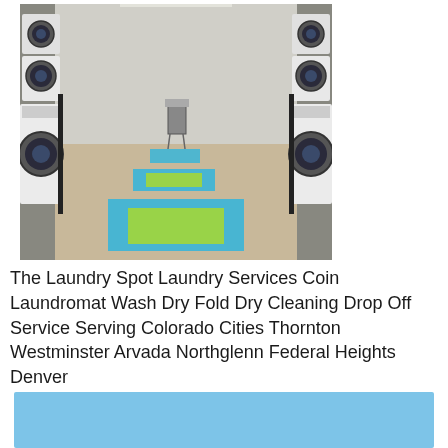[Figure (photo): Interior of a laundromat showing rows of washing machines on both sides, with blue and green floor mats/signs on the floor in the aisle.]
The Laundry Spot Laundry Services Coin Laundromat Wash Dry Fold Dry Cleaning Drop Off Service Serving Colorado Cities Thornton Westminster Arvada Northglenn Federal Heights Denver
[Figure (other): Light blue rectangular banner at the bottom of the page.]